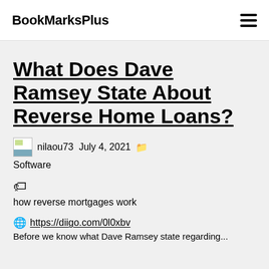BookMarksPlus
What Does Dave Ramsey State About Reverse Home Loans?
nilaou73  July 4, 2021
Software
how reverse mortgages work
https://diigo.com/0l0xbv
Before we know what Dave Ramsey state regarding...